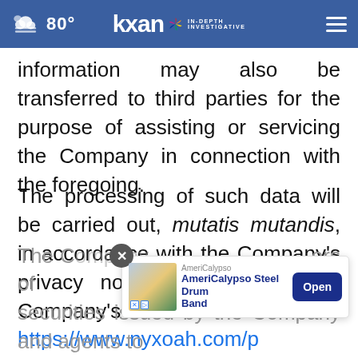80° kxan IN-DEPTH INVESTIGATIVE
information may also be transferred to third parties for the purpose of assisting or servicing the Company in connection with the foregoing.
The processing of such data will be carried out, mutatis mutandis, in accordance with the Company's privacy notice available on the Company's website: https://www.nyxoah.com/privacy-notice-nyxoah.
The C[ompany will inform holders of securities issued by the Company and agents to